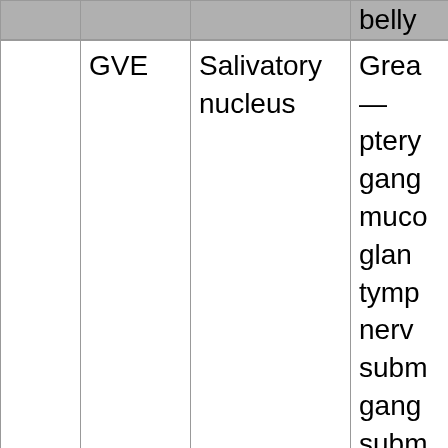|  |  |  |  |
| --- | --- | --- | --- |
|  |  |  | belly |
|  | GVE | Salivatory nucleus | Grea—
pteryganglmucogglandtympnervsub mgangsubmsubligland |
|  | SVA | Geniculate ganglion | Chor—linnervantethi rd |
|  | GVA | Geniculate | Grea |